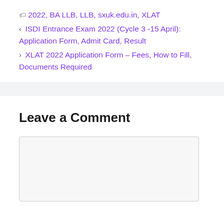🏷 2022, BA LLB, LLB, sxuk.edu.in, XLAT
< ISDI Entrance Exam 2022 (Cycle 3 -15 April): Application Form, Admit Card, Result
> XLAT 2022 Application Form – Fees, How to Fill, Documents Required
Leave a Comment